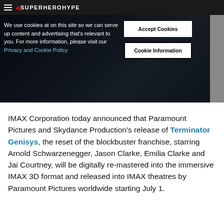SuperHeroHype
[Figure (screenshot): Dark hero image with armored figure silhouette, overlaid with a cookie consent banner. Cookie text reads: 'We use cookies at on this site so we can serve up content and advertising that's relevant to you. For more information, please visit our Privacy and Cookie Policy'. Two buttons: 'Accept Cookies' and 'Cookie Information'.]
IMAX Corporation today announced that Paramount Pictures and Skydance Production's release of Terminator Genisys, the reset of the blockbuster franchise, starring Arnold Schwarzenegger, Jason Clarke, Emilia Clarke and Jai Courtney, will be digitally re-mastered into the immersive IMAX 3D format and released into IMAX theatres by Paramount Pictures worldwide starting July 1.